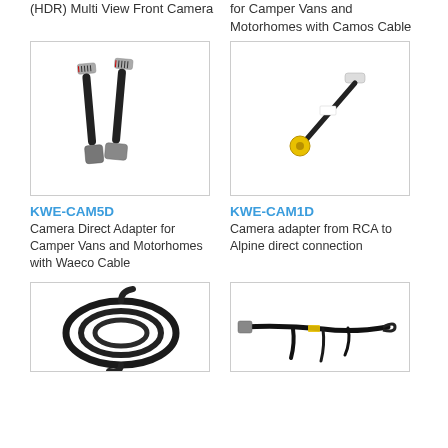(HDR) Multi View Front Camera
for Camper Vans and Motorhomes with Camos Cable
[Figure (photo): Two short black cable adapters with grey connectors on both ends]
KWE-CAM5D
Camera Direct Adapter for Camper Vans and Motorhomes with Waeco Cable
[Figure (photo): Short black cable adapter with white/grey connector on one end and yellow RCA connector on the other]
KWE-CAM1D
Camera adapter from RCA to Alpine direct connection
[Figure (photo): Coiled black cable/wire bundle]
[Figure (photo): Black cable harness with connectors and a loop]